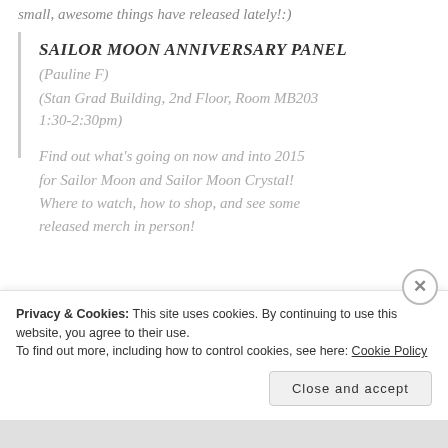small, awesome things have released lately!:)
SAILOR MOON ANNIVERSARY PANEL
(Pauline F)
(Stan Grad Building, 2nd Floor, Room MB203 1:30-2:30pm)
Find out what's going on now and into 2015 for Sailor Moon and Sailor Moon Crystal! Where to watch, how to shop, and see some released merch in person!
Privacy & Cookies: This site uses cookies. By continuing to use this website, you agree to their use. To find out more, including how to control cookies, see here: Cookie Policy
Close and accept